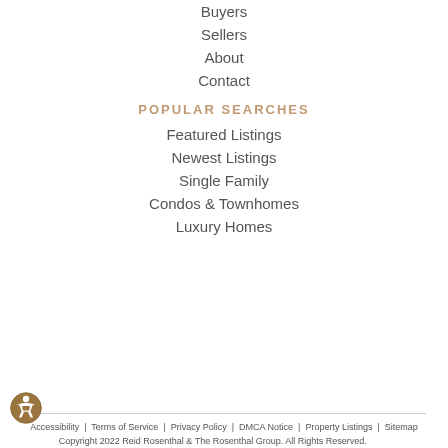Buyers
Sellers
About
Contact
POPULAR SEARCHES
Featured Listings
Newest Listings
Single Family
Condos & Townhomes
Luxury Homes
Accessibility  |  Terms of Service  |  Privacy Policy  |  DMCA Notice  |  Property Listings  |  Sitemap
Copyright 2022 Reid Rosenthal & The Rosenthal Group. All Rights Reserved.